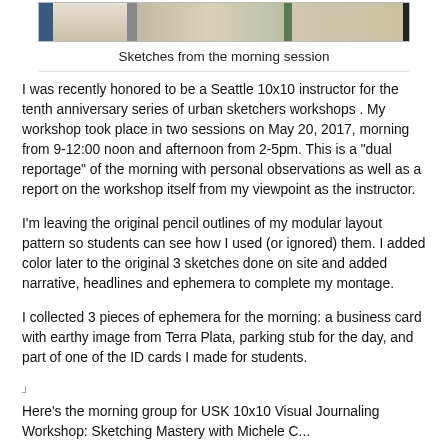[Figure (photo): Sketches from the morning session — a strip of colorful urban sketches shown at the top of the page]
Sketches from the morning session
I was recently honored to be a Seattle 10x10 instructor for the tenth anniversary series of urban sketchers workshops . My workshop took place in two sessions on May 20, 2017, morning from 9-12:00 noon and afternoon from 2-5pm. This is a "dual reportage" of the morning with personal observations as well as a report on the workshop itself from my viewpoint as the instructor.
I'm leaving the original pencil outlines of my modular layout pattern so students can see how I used (or ignored) them. I added color later to the original 3 sketches done on site and added narrative, headlines and ephemera to complete my montage.
I collected 3 pieces of ephemera for the morning: a business card with earthy image from Terra Plata, parking stub for the day, and part of one of the ID cards I made for students.
Here's the morning group for USK 10x10 Visual Journaling Workshop: Sketching Mastery with Michele C...